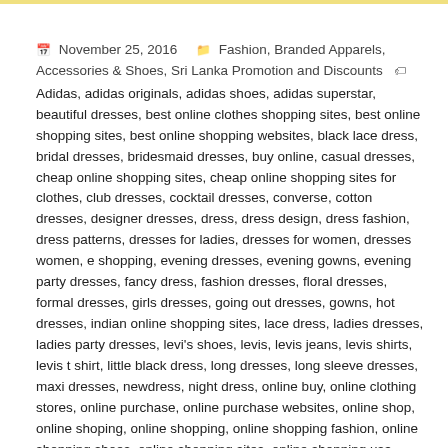November 25, 2016   Fashion, Branded Apparels, Accessories & Shoes, Sri Lanka Promotion and Discounts   Adidas, adidas originals, adidas shoes, adidas superstar, beautiful dresses, best online clothes shopping sites, best online shopping sites, best online shopping websites, black lace dress, bridal dresses, bridesmaid dresses, buy online, casual dresses, cheap online shopping sites, cheap online shopping sites for clothes, club dresses, cocktail dresses, converse, cotton dresses, designer dresses, dress, dress design, dress fashion, dress patterns, dresses for ladies, dresses for women, dresses women, e shopping, evening dresses, evening gowns, evening party dresses, fancy dress, fashion dresses, floral dresses, formal dresses, girls dresses, going out dresses, gowns, hot dresses, indian online shopping sites, lace dress, ladies dresses, ladies party dresses, levi's shoes, levis, levis jeans, levis shirts, levis t shirt, little black dress, long dresses, long sleeve dresses, maxi dresses, newdress, night dress, online buy, online clothing stores, online purchase, online purchase websites, online shop, online shoping, online shopping, online shopping fashion, online shopping shoes, online shopping sites, online shopping usa, online shopping websites, online sites for shopping, online store, online store products, party dresses, party dresses for women,